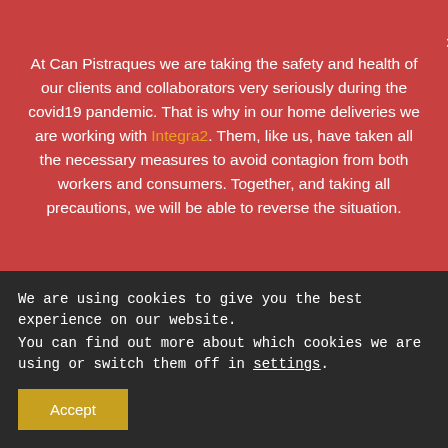At Can Pistraques we are taking the safety and health of our clients and collaborators very seriously during the covid19 pandemic. That is why in our home deliveries we are working with Integra2. Them, like us, have taken all the necessary measures to avoid contagion from both workers and consumers. Together, and taking all precautions, we will be able to reverse the situation.
CAPRABO trata and Almacena datos necesarios para:
In. Public administration, Juzgados y
We are using cookies to give you the best experience on our website.
You can find out more about which cookies we are using or switch them off in settings.